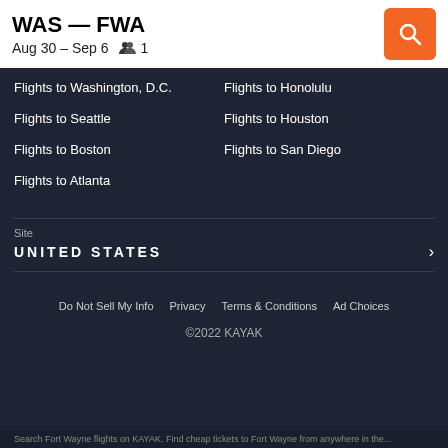WAS — FWA
Aug 30 – Sep 6   👥 1
Flights to Washington, D.C.
Flights to Honolulu
Flights to Seattle
Flights to Houston
Flights to Boston
Flights to San Diego
Flights to Atlanta
Site
UNITED STATES
Do Not Sell My Info   Privacy   Terms & Conditions   Ad Choices
©2022 KAYAK
Search Fort Wayne flights on KAYAK. Find cheap tickets to Fort Wayne from anywhere in the...